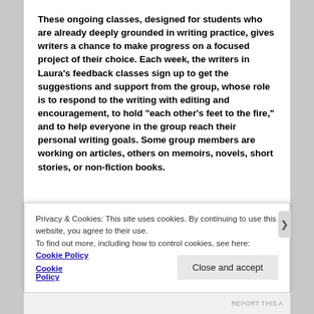These ongoing classes, designed for students who are already deeply grounded in writing practice, gives writers a chance to make progress on a focused project of their choice. Each week, the writers in Laura's feedback classes sign up to get the suggestions and support from the group, whose role is to respond to the writing with editing and encouragement, to hold “each other’s feet to the fire,” and to help everyone in the group reach their personal writing goals. Some group members are working on articles, others on memoirs, novels, short stories, or non-fiction books.
Privacy & Cookies: This site uses cookies. By continuing to use this website, you agree to their use.
To find out more, including how to control cookies, see here: Cookie Policy